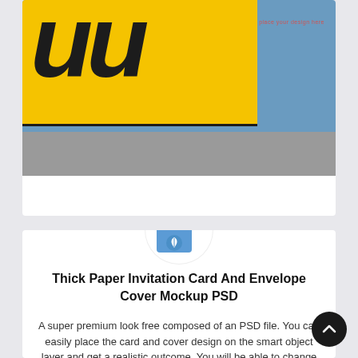[Figure (photo): Partial view of yellow and blue poster/banner mockup with large italic black letters and a 'place your design here' placeholder text in the upper right corner, shown on a gray surface.]
[Figure (logo): PSD file icon — blue document icon with 'PSD' label and a white leaf/feather symbol, displayed inside a white circular background.]
Thick Paper Invitation Card And Envelope Cover Mockup PSD
A super premium look free composed of an PSD file. You can easily place the card and cover design on the smart object layer and get a realistic outcome. You will be able to change the color of the background by applying fill on the last layer